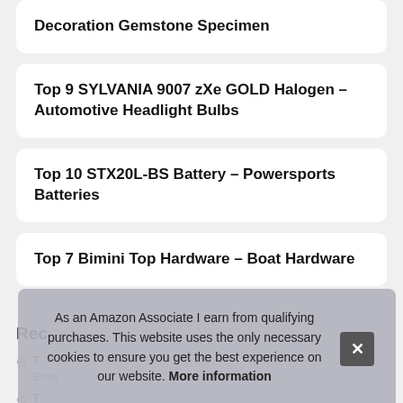Decoration Gemstone Specimen
Top 9 SYLVANIA 9007 zXe GOLD Halogen – Automotive Headlight Bulbs
Top 10 STX20L-BS Battery – Powersports Batteries
Top 7 Bimini Top Hardware – Boat Hardware
Rec…
T… Emis…
T… Emission & Exhaust Products
As an Amazon Associate I earn from qualifying purchases. This website uses the only necessary cookies to ensure you get the best experience on our website. More information